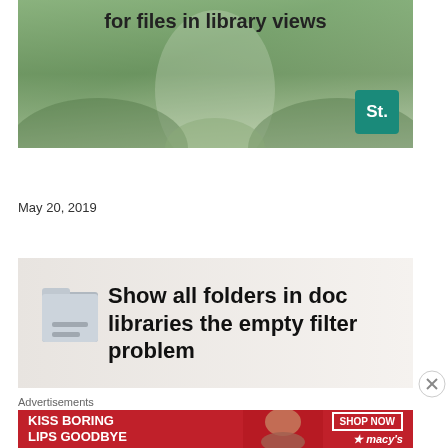[Figure (screenshot): Blog post thumbnail image showing a forest path background with overlaid text 'for files in library views' and a teal 'St.' badge in the bottom right corner]
How to show the folder path of a file in library views
May 20, 2019
[Figure (screenshot): Blog post thumbnail showing a file/folder icon on the left and bold text 'Show all folders in doc libraries the empty filter problem' on a light beige background]
Advertisements
[Figure (illustration): Advertisement banner with red background showing 'KISS BORING LIPS GOODBYE' text, a woman's face, and 'SHOP NOW / macys' on the right side]